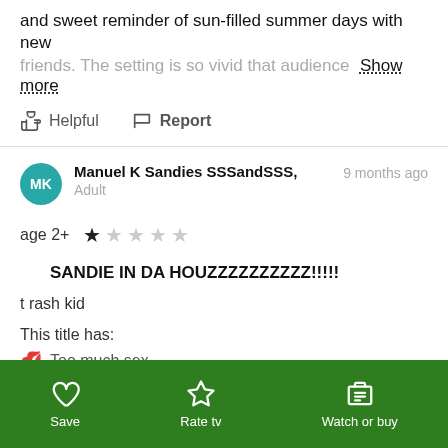and sweet reminder of sun-filled summer days with new friends. The setting is so vivid that audience  Show more
Helpful
Report
Manuel K Sandies SSSandSSS, Adult  9 months ago
age 2+  ★☆☆☆☆
SANDIE IN DA HOUZZZZZZZZZZ!!!!!
t rash kid
This title has:
Too much sex
Save  Rate tv  Watch or buy